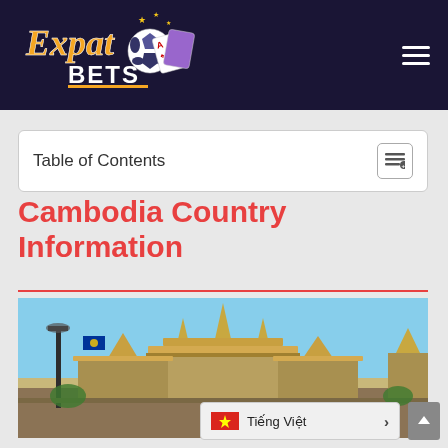[Figure (logo): Expat Bets logo with soccer ball, playing cards, and stylized text on dark background]
Table of Contents
Cambodia Country Information
[Figure (photo): Photograph of Cambodian temple/palace architecture with golden roofs and spires against a blue sky, with a street lamp in the foreground]
Tiếng Việt